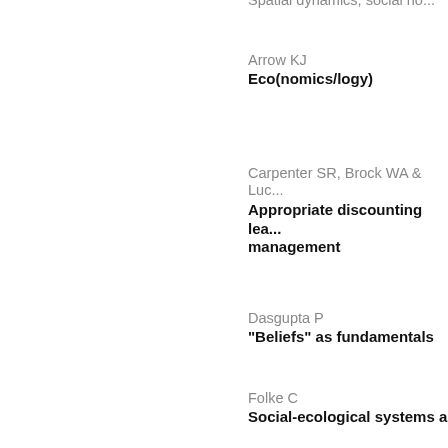Arrow KJ
Eco(nomics/logy)
Carpenter SR, Brock WA & Luc...
Appropriate discounting lea...
management
Dasgupta P
"Beliefs" as fundamentals
Folke C
Social-ecological systems ar...
Jackson JBC
Economic incentives, social...
Kinzig AP
On incentives and social nor...
Vincent exchange
Satake A
The role of economic incenti...
management